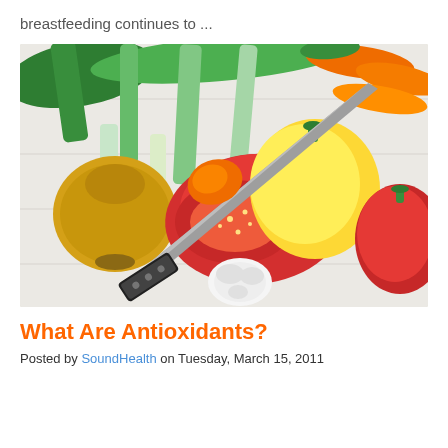breastfeeding continues to ...
[Figure (photo): Colorful vegetables on a white wooden surface including leeks, carrots, yellow bell pepper, red bell pepper, onion, garlic, and a chef's knife cutting a red tomato or pepper.]
What Are Antioxidants?
Posted by SoundHealth on Tuesday, March 15, 2011